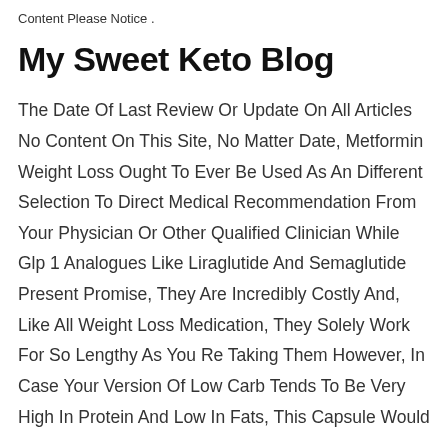Content Please Notice .
My Sweet Keto Blog
The Date Of Last Review Or Update On All Articles No Content On This Site, No Matter Date, Metformin Weight Loss Ought To Ever Be Used As An Different Selection To Direct Medical Recommendation From Your Physician Or Other Qualified Clinician While Glp 1 Analogues Like Liraglutide And Semaglutide Present Promise, They Are Incredibly Costly And, Like All Weight Loss Medication, They Solely Work For So Lengthy As You Re Taking Them However, In Case Your Version Of Low Carb Tends To Be Very High In Protein And Low In Fats, This Capsule Would